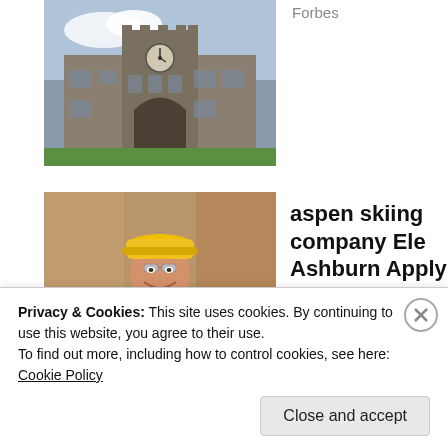[Figure (photo): Photo of a Gothic stone university building with a clock tower and archway entrance, green grass in foreground]
Forbes
[Figure (photo): Photo of a smiling male construction worker wearing a yellow hard hat, safety glasses, and ear protection around his neck, arms crossed]
aspen skiing company Ele Ashburn Apply Now
jobble.com
Privacy & Cookies: This site uses cookies. By continuing to use this website, you agree to their use.
To find out more, including how to control cookies, see here: Cookie Policy
Close and accept